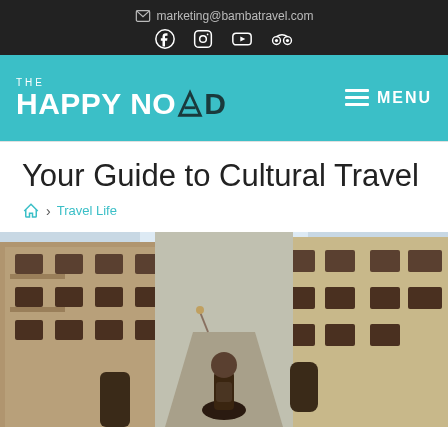marketing@bambatravel.com
THE HAPPY NOMAD
MENU
Your Guide to Cultural Travel
Home > Travel Life
[Figure (photo): Person viewed from behind standing in a narrow Venetian alley between tall historic stone buildings]